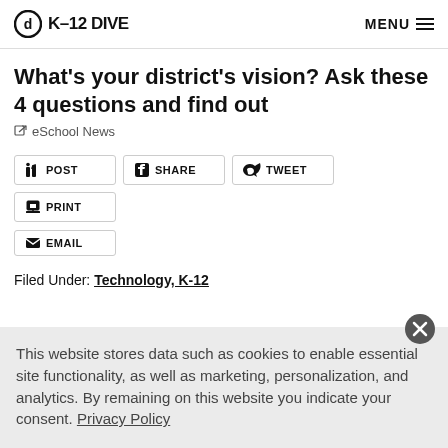K-12 DIVE | MENU
What's your district's vision? Ask these 4 questions and find out
eSchool News
POST | SHARE | TWEET | PRINT | EMAIL
Filed Under: Technology, K-12
This website stores data such as cookies to enable essential site functionality, as well as marketing, personalization, and analytics. By remaining on this website you indicate your consent. Privacy Policy